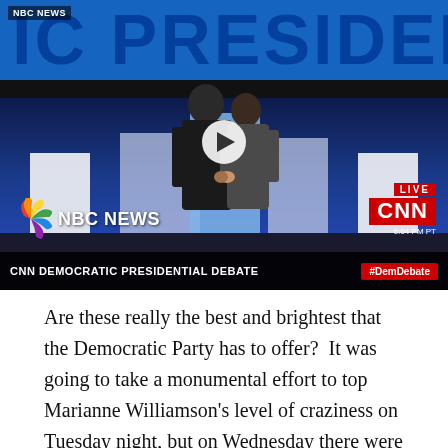[Figure (screenshot): Video thumbnail of CNN Democratic Presidential Debate showing two candidates shaking hands on stage, with NBC News logo, CNN LIVE bug, and lower chyron reading 'CNN DEMOCRATIC PRESIDENTIAL DEBATE #DemDebate']
Are these really the best and brightest that the Democratic Party has to offer?  It was going to take a monumental effort to top Marianne Williamson's level of craziness on Tuesday night, but on Wednesday there were several Democratic contenders that gave it their best shot.  Kirsten Gillibrand and Jay Inslee were particularly unhinged, and